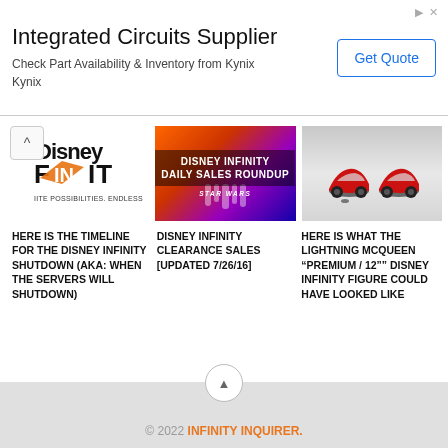[Figure (screenshot): Advertisement banner for Integrated Circuits Supplier - Kynix]
Integrated Circuits Supplier
Check Part Availability & Inventory from Kynix
Kynix
[Figure (screenshot): Disney Infinity logo - FINITE POSSIBILITIES. ENDLESS.]
[Figure (screenshot): Disney Infinity Daily Sales Roundup with Star Wars imagery]
[Figure (photo): Lightning McQueen figure - two red car figures on display stands]
HERE IS THE TIMELINE FOR THE DISNEY INFINITY SHUTDOWN (AKA: WHEN THE SERVERS WILL SHUTDOWN)
DISNEY INFINITY CLEARANCE SALES [UPDATED 7/26/16]
HERE IS WHAT THE LIGHTNING MCQUEEN “PREMIUM / 12”” DISNEY INFINITY FIGURE COULD HAVE LOOKED LIKE
© 2022 INFINITY INQUIRER.